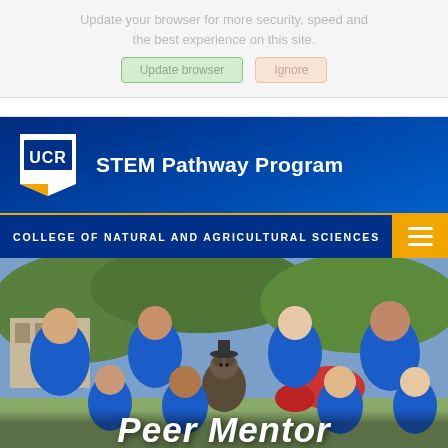Update your browser for more security, speed and the best experience on this site.
[Figure (screenshot): Two buttons: 'Update browser' (green outline) and 'Ignore' (peach/pink outline)]
[Figure (logo): UCR logo with shield shape and yellow accent, next to 'STEM Pathway Program' text on dark blue background header]
STEM Pathway Program
COLLEGE OF NATURAL AND AGRICULTURAL SCIENCES
[Figure (photo): Group photo of students in blue UCR polo shirts standing around a bear statue, with 'Peer Mentor' text overlay at the bottom]
Peer Mentor